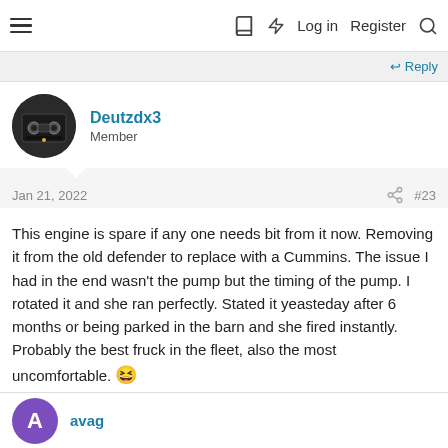≡  [book icon] [bolt icon]  Log in  Register  [search icon]
↩ Reply
Deutzdx3
Member
Jan 21, 2022   #23
This engine is spare if any one needs bit from it now. Removing it from the old defender to replace with a Cummins. The issue I had in the end wasn't the pump but the timing of the pump. I rotated it and she ran perfectly. Stated it yeasteday after 6 months or being parked in the barn and she fired instantly. Probably the best fruck in the fleet, also the most uncomfortable. 😆
↩ Reply
avag